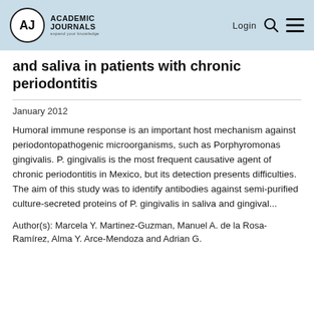Academic Journals — Login
and saliva in patients with chronic periodontitis
January 2012
Humoral immune response is an important host mechanism against periodontopathogenic microorganisms, such as Porphyromonas gingivalis. P. gingivalis is the most frequent causative agent of chronic periodontitis in Mexico, but its detection presents difficulties. The aim of this study was to identify antibodies against semi-purified culture-secreted proteins of P. gingivalis in saliva and gingival...
Author(s): Marcela Y. Martinez-Guzman, Manuel A. de la Rosa-Ramírez, Alma Y. Arce-Mendoza and Adrian G.